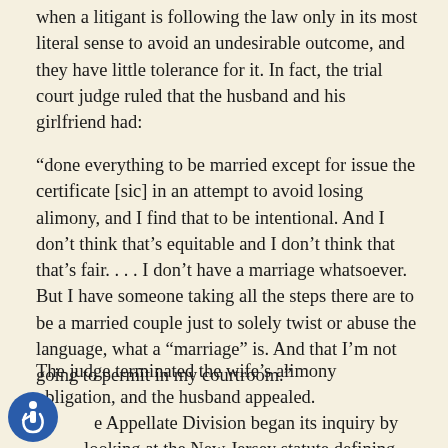when a litigant is following the law only in its most literal sense to avoid an undesirable outcome, and they have little tolerance for it. In fact, the trial court judge ruled that the husband and his girlfriend had:
“done everything to be married except for issue the certificate [sic] in an attempt to avoid losing alimony, and I find that to be intentional. And I don’t think that’s equitable and I don’t think that that’s fair. . . . I don’t have a marriage whatsoever. But I have someone taking all the steps there are to be a married couple just to solely twist or abuse the language, what a “marriage” is. And that I’m not going to permit in my courtroom.”
The judge terminated the wife’s alimony obligation, and the husband appealed.
The Appellate Division began its inquiry by looking at the New Jersey statute defining marriage.
[Figure (logo): Accessibility icon — blue circle with white wheelchair symbol]